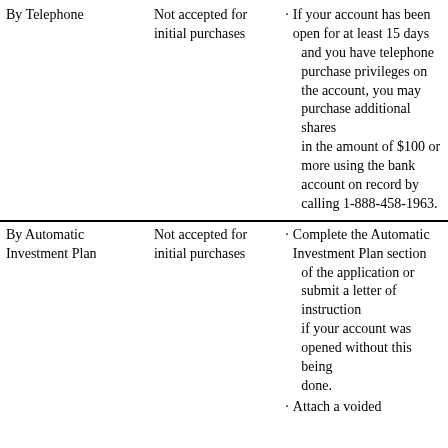| Method | Initial Purchases | Instructions |
| --- | --- | --- |
| By Telephone | Not accepted for initial purchases | · If your account has been open for at least 15 days and you have telephone purchase privileges on the account, you may purchase additional shares in the amount of $100 or more using the bank account on record by calling 1-888-458-1963. |
| By Automatic Investment Plan | Not accepted for initial purchases | · Complete the Automatic Investment Plan section of the application or submit a letter of instruction if your account was opened without this being done.
· Attach a voided |